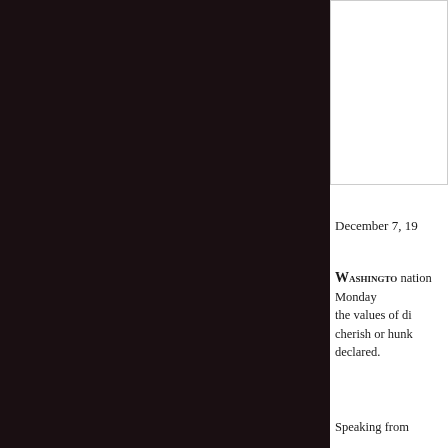[Figure (photo): Partial view of a photo or image in the upper right area of the page]
December 7, 19
WASHINGTON — nation Monday the values of di cherish or hunk declared.
Speaking from